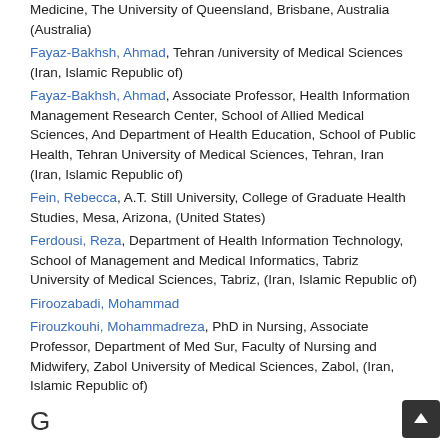Medicine, The University of Queensland, Brisbane, Australia (Australia)
Fayaz-Bakhsh, Ahmad, Tehran /university of Medical Sciences (Iran, Islamic Republic of)
Fayaz-Bakhsh, Ahmad, Associate Professor, Health Information Management Research Center, School of Allied Medical Sciences, And Department of Health Education, School of Public Health, Tehran University of Medical Sciences, Tehran, Iran (Iran, Islamic Republic of)
Fein, Rebecca, A.T. Still University, College of Graduate Health Studies, Mesa, Arizona, (United States)
Ferdousi, Reza, Department of Health Information Technology, School of Management and Medical Informatics, Tabriz University of Medical Sciences, Tabriz, (Iran, Islamic Republic of)
Firoozabadi, Mohammad
Firouzkouhi, Mohammadreza, PhD in Nursing, Associate Professor, Department of Med Sur, Faculty of Nursing and Midwifery, Zabol University of Medical Sciences, Zabol, (Iran, Islamic Republic of)
G
Gangopadhyay, Sukanya, VARDHMAN MAHAVIR MEDICAL COLLEGE & SAFDARJUNG HOSPITAL,NEW DELHI-